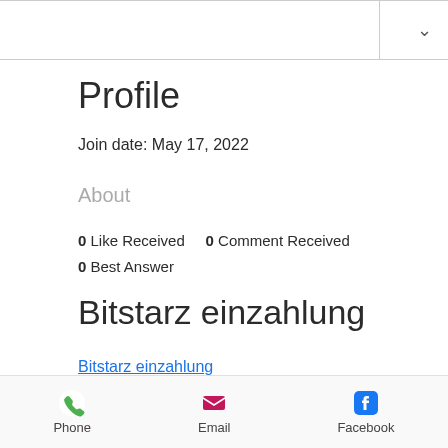Profile
Join date: May 17, 2022
About
0 Like Received   0 Comment Received
0 Best Answer
Bitstarz einzahlung
Bitstarz einzahlung
[Figure (photo): Blurred promotional image, partially visible at bottom of content area]
Phone   Email   Facebook